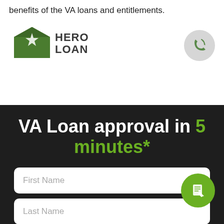benefits of the VA loans and entitlements.
[Figure (logo): Hero Loan logo with green house/chevron icon and star, next to a circular phone icon]
VA Loan approval in 5 minutes*
First Name
Last Name